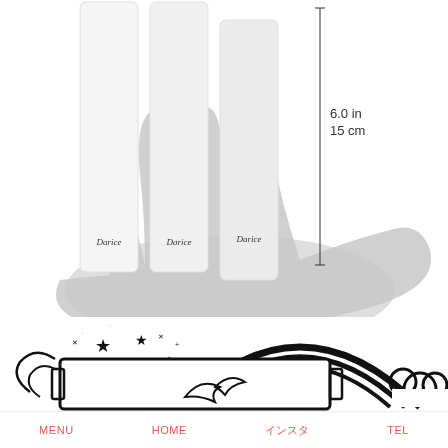[Figure (photo): Product size reference photo showing three white fabric strips labeled 'Darice' held in a hand silhouette, with a measurement indicator showing 6.0 in / 15 cm height]
[Figure (illustration): Decorative black outline illustration showing a rainbow, clouds, stars and a blank frame/sign, partially visible at bottom of page]
MENU   HOME   (Japanese text)   TEL